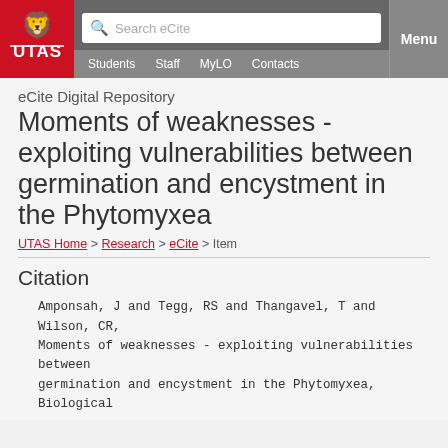[Figure (logo): UTAS University of Tasmania logo - white lion on red background with UTAS text]
Search eCite | Students | Staff | MyLO | Contacts | Menu
eCite Digital Repository
Moments of weaknesses - exploiting vulnerabilities between germination and encystment in the Phytomyxea
UTAS Home > Research > eCite > Item
Citation
Amponsah, J and Tegg, RS and Thangavel, T and Wilson, CR, Moments of weaknesses - exploiting vulnerabilities between germination and encystment in the Phytomyxea, Biological